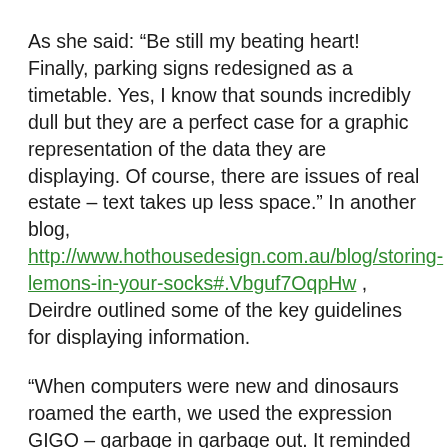As she said: “Be still my beating heart! Finally, parking signs redesigned as a timetable. Yes, I know that sounds incredibly dull but they are a perfect case for a graphic representation of the data they are displaying. Of course, there are issues of real estate – text takes up less space.” In another blog, http://www.hothousedesign.com.au/blog/storing-lemons-in-your-socks#.Vbguf7OqpHw , Deirdre outlined some of the key guidelines for displaying information.
“When computers were new and dinosaurs roamed the earth, we used the expression GIGO – garbage in garbage out. It reminded us that computers were only as good as their users. It is time that GIGO came back into regular use. Presenters are plaguing us with pretty looking garbage because they have forgotten about GIGO. We are in an era of style over substance. This problem is aggravated by the multitude of tools now available that create beautiful, or at least pleasing, output of your input. Just look at most collections of